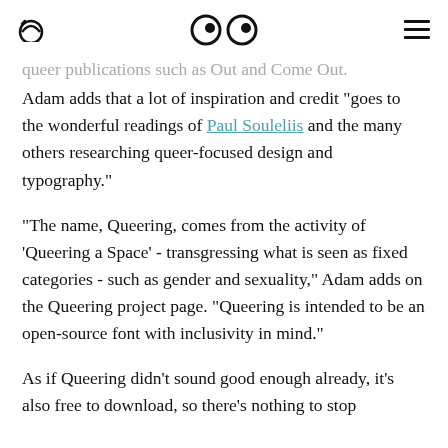🔍 👀 ☰
queer publications such as Out and Come Out. Adam adds that a lot of inspiration and credit "goes to the wonderful readings of Paul Souleliis and the many others researching queer-focused design and typography."
"The name, Queering, comes from the activity of 'Queering a Space' - transgressing what is seen as fixed categories - such as gender and sexuality," Adam adds on the Queering project page. "Queering is intended to be an open-source font with inclusivity in mind."
As if Queering didn't sound good enough already, it's also free to download, so there's nothing to stop